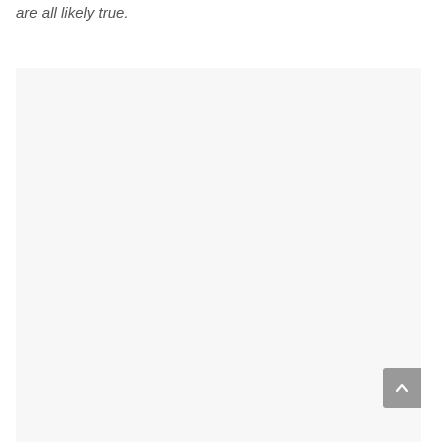are all likely true.
[Figure (other): A large light gray/off-white empty rectangular content area, likely a web page content region or image placeholder. A gray scroll-to-top button with an upward chevron arrow is visible on the right edge.]